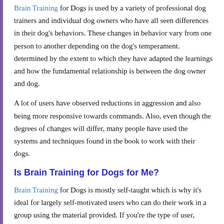Brain Training for Dogs is used by a variety of professional dog trainers and individual dog owners who have all seen differences in their dog's behaviors. These changes in behavior vary from one person to another depending on the dog's temperament. determined by the extent to which they have adapted the learnings and how the fundamental relationship is between the dog owner and dog.
A lot of users have observed reductions in aggression and also being more responsive towards commands. Also, even though the degrees of changes will differ, many people have used the systems and techniques found in the book to work with their dogs.
Is Brain Training for Dogs for Me?
Brain Training for Dogs is mostly self-taught which is why it's ideal for largely self-motivated users who can do their work in a group using the material provided. If you're the type of user, Brain Training for Dogs is the right program for you.